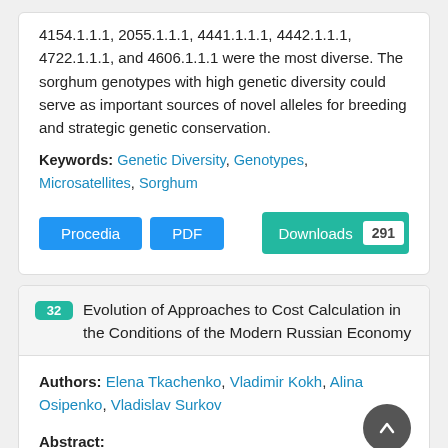4154.1.1.1, 2055.1.1.1, 4441.1.1.1, 4442.1.1.1, 4722.1.1.1, and 4606.1.1.1 were the most diverse. The sorghum genotypes with high genetic diversity could serve as important sources of novel alleles for breeding and strategic genetic conservation.
Keywords: Genetic Diversity, Genotypes, Microsatellites, Sorghum
Procedia | PDF | Downloads 291
32 Evolution of Approaches to Cost Calculation in the Conditions of the Modern Russian Economy
Authors: Elena Tkachenko, Vladimir Kokh, Alina Osipenko, Vladislav Surkov
Abstract: